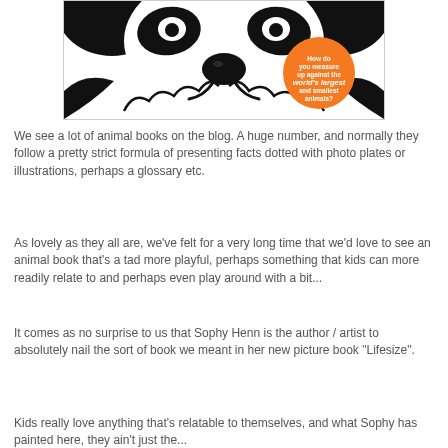[Figure (illustration): Book cover of 'Lifesize' showing a close-up of a panda face in black and white with an orange circular badge reading 'How do you measure up against the world's largest and smallest animals?']
We see a lot of animal books on the blog. A huge number, and normally they follow a pretty strict formula of presenting facts dotted with photo plates or illustrations, perhaps a glossary etc.
As lovely as they all are, we've felt for a very long time that we'd love to see an animal book that's a tad more playful, perhaps something that kids can more readily relate to and perhaps even play around with a bit...
It comes as no surprise to us that Sophy Henn is the author / artist to absolutely nail the sort of book we meant in her new picture book "Lifesize".
Kids really love anything that's relatable to themselves, and what Sophy has painted here, they ain't just the...